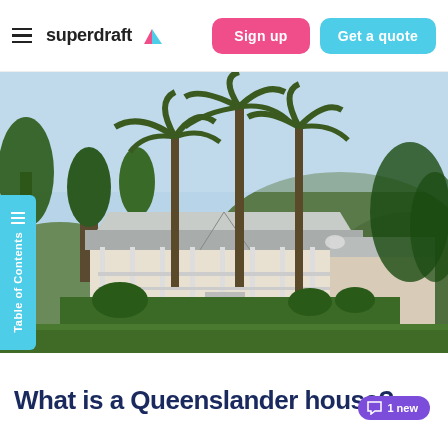superdraft — Sign up | Get a quote
[Figure (photo): A Queenslander-style house with wrap-around veranda, metal roof, elevated on stumps, surrounded by tall palm trees and lush greenery with hills in the background.]
What is a Queenslander house?